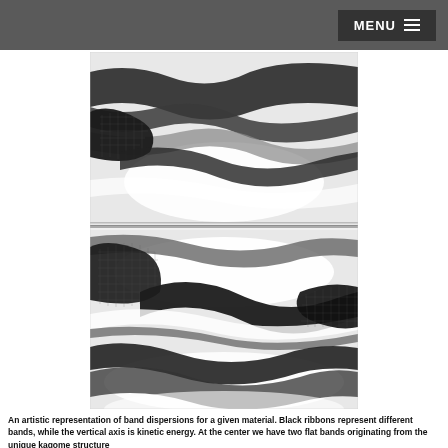MENU
[Figure (illustration): An artistic black-and-white image showing flowing ribbon-like bands arranged in wave patterns against a white background. The image is divided into two halves separated by a thin horizontal line in the center. Each half shows dark, curving ribbon-like structures representing band dispersions, with the center featuring two flat bands representing the kagome structure. The upper half shows ribbons sweeping from the left with a textured pattern, and the lower half mirrors this with similar flowing dark bands.]
An artistic representation of band dispersions for a given material. Black ribbons represent different bands, while the vertical axis is kinetic energy. At the center we have two flat bands originating from the unique kagome structure